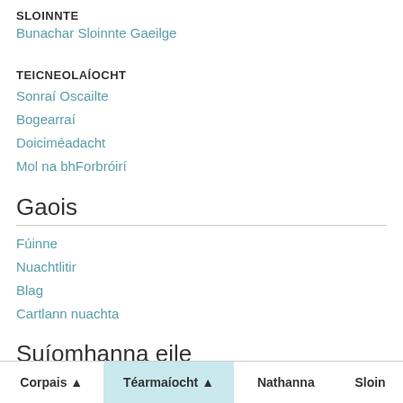SLOINNTE
Bunachar Sloinnte Gaeilge
TEICNEOLAÍOCHT
Sonraí Oscailte
Bogearraí
Doiciméadacht
Mol na bhForbróirí
Gaois
Fúinne
Nuachtlitir
Blag
Cartlann nuachta
Suíomhanna eile
Corpais ▲  Téarmaíocht ▲  Nathanna  Sloin